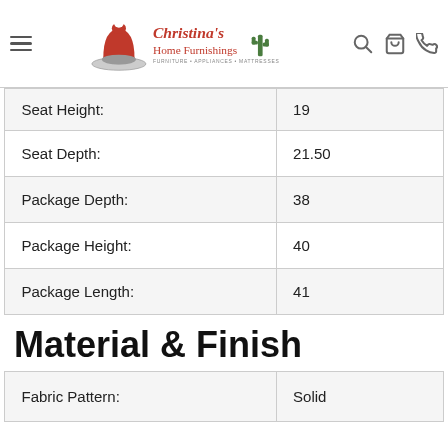Christina's Home Furnishings — navigation header
| Seat Height: | 19 |
| Seat Depth: | 21.50 |
| Package Depth: | 38 |
| Package Height: | 40 |
| Package Length: | 41 |
Material & Finish
| Fabric Pattern: | Solid |